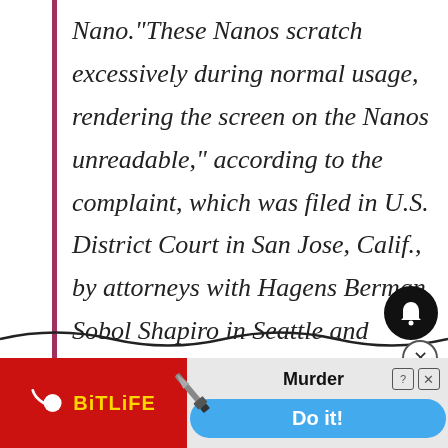Nano.“These Nanos scratch excessively during normal usage, rendering the screen on the Nanos unreadable,” according to the complaint, which was filed in U.S. District Court in San Jose, Calif., by attorneys with Hagens Berman Sobol Shapiro in Seattle and Columbus, Ohio-based David P.
[Figure (screenshot): Advertisement banner for BitLife mobile game showing red logo on left with sperm icon and BITLIFE text in yellow, and on the right a knife icon with text 'Murder Do it!' on a blue button, with close and question mark icons]